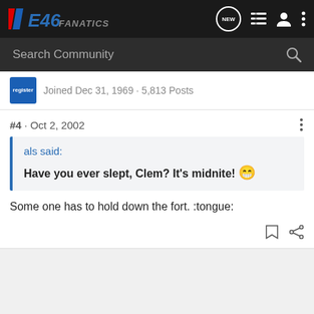IIE46 FANATICS
Search Community
Joined Dec 31, 1969 · 5,813 Posts
#4 · Oct 2, 2002
als said:
Have you ever slept, Clem? It's midnite! 😁
Some one has to hold down the fort. :tongue: